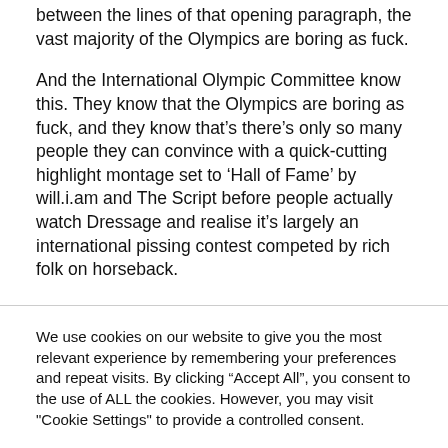between the lines of that opening paragraph, the vast majority of the Olympics are boring as fuck.
And the International Olympic Committee know this. They know that the Olympics are boring as fuck, and they know that’s there’s only so many people they can convince with a quick-cutting highlight montage set to ‘Hall of Fame’ by will.i.am and The Script before people actually watch Dressage and realise it’s largely an international pissing contest competed by rich folk on horseback.
We use cookies on our website to give you the most relevant experience by remembering your preferences and repeat visits. By clicking “Accept All”, you consent to the use of ALL the cookies. However, you may visit "Cookie Settings" to provide a controlled consent.
Cookie Settings   Accept All